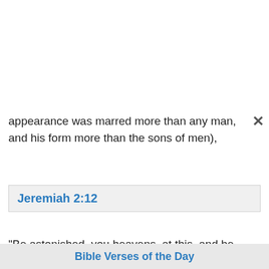appearance was marred more than any man, and his form more than the sons of men),
Jeremiah 2:12
"Be astonished, you heavens, at this, and be horribly afraid. Be very desolate," says the LORD.
Jeremiah 4:9
"It shall happen at that day," says the LORD, "that the heart of the king shall perish, and the heart of
Bible Verses of the Day